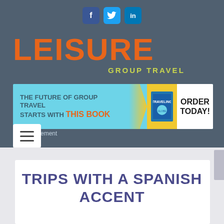[Figure (other): Social media icons: Facebook (f), Twitter bird, LinkedIn (in) on dark blue-grey background]
[Figure (logo): Leisure Group Travel logo — LEISURE in large orange bold letters, GROUP TRAVEL in small yellow-green caps below]
[Figure (other): Advertisement banner: 'THE FUTURE OF GROUP TRAVEL STARTS WITH THIS BOOK' with yellow ORDER TODAY button and book image]
Advertisement
[Figure (other): Hamburger menu button (three horizontal lines) on white rounded rectangle]
TRIPS WITH A SPANISH ACCENT